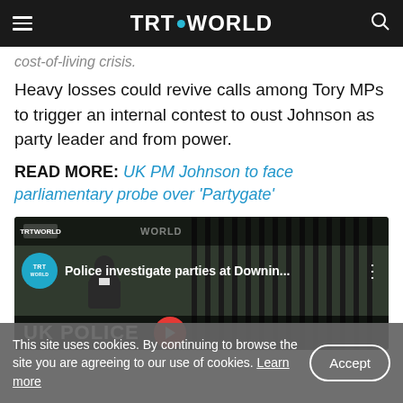TRT WORLD
cost-of-living crisis.
Heavy losses could revive calls among Tory MPs to trigger an internal contest to oust Johnson as party leader and from power.
READ MORE: UK PM Johnson to face parliamentary probe over 'Partygate'
[Figure (screenshot): TRT World video thumbnail showing 'Police investigate parties at Downin...' with TRT World logo, a man in a suit near iron gates, and text UK POLICE at bottom]
This site uses cookies. By continuing to browse the site you are agreeing to our use of cookies. Learn more